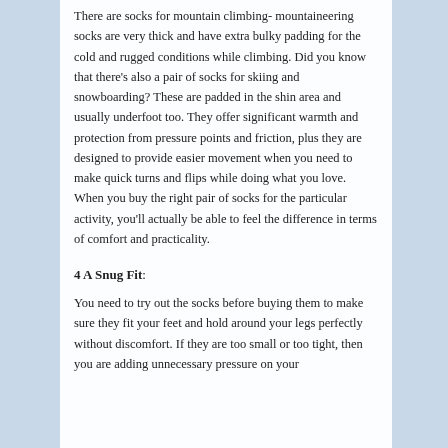There are socks for mountain climbing- mountaineering socks are very thick and have extra bulky padding for the cold and rugged conditions while climbing. Did you know that there's also a pair of socks for skiing and snowboarding? These are padded in the shin area and usually underfoot too. They offer significant warmth and protection from pressure points and friction, plus they are designed to provide easier movement when you need to make quick turns and flips while doing what you love. When you buy the right pair of socks for the particular activity, you'll actually be able to feel the difference in terms of comfort and practicality.
4 A Snug Fit:
You need to try out the socks before buying them to make sure they fit your feet and hold around your legs perfectly without discomfort. If they are too small or too tight, then you are adding unnecessary pressure on your